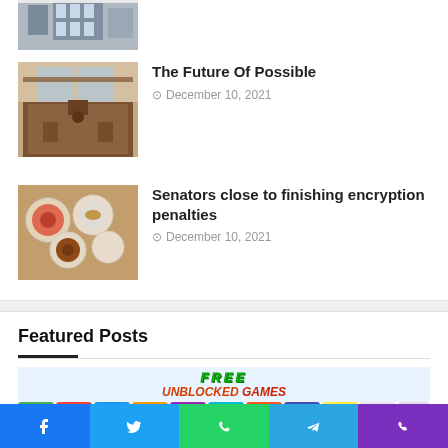[Figure (photo): Partial view of building exterior photo at top]
[Figure (photo): Cafe interior with long wooden table]
The Future Of Possible
December 10, 2021
[Figure (photo): Food dishes on a table viewed from above]
Senators close to finishing encryption penalties
December 10, 2021
Featured Posts
[Figure (screenshot): Free Unblocked Games website screenshot with colorful game icons]
[Figure (other): Social media share bar with Facebook, Twitter, WhatsApp, Telegram, Phone icons]